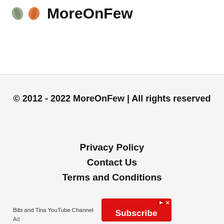MoreOnFew
© 2012 - 2022 MoreOnFew | All rights reserved
Privacy Policy
Contact Us
Terms and Conditions
[Figure (other): Advertisement banner: Bibi and Tina YouTube Channel with red Subscribe button]
Ad